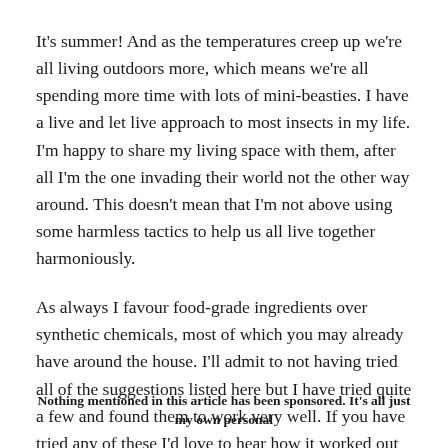It's summer! And as the temperatures creep up we're all living outdoors more, which means we're all spending more time with lots of mini-beasties. I have a live and let live approach to most insects in my life. I'm happy to share my living space with them, after all I'm the one invading their world not the other way around. This doesn't mean that I'm not above using some harmless tactics to help us all live together harmoniously.
As always I favour food-grade ingredients over synthetic chemicals, most of which you may already have around the house. I'll admit to not having tried all of the suggestions listed here but I have tried quite a few and found them to work very well. If you have tried any of these I'd love to hear how it worked out for you.
Nothing mentioned in this article has been sponsored. It's all just my own personal